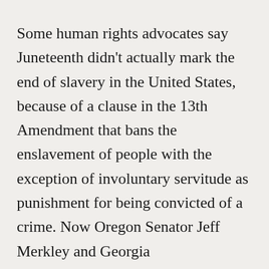Some human rights advocates say Juneteenth didn't actually mark the end of slavery in the United States, because of a clause in the 13th Amendment that bans the enslavement of people with the exception of involuntary servitude as punishment for being convicted of a crime. Now Oregon Senator Jeff Merkley and Georgia Congressmember Nikema Williams have reintroduced legislation to amend the 13th Amendment.
For more, we're joined by Jorge Renaud, the national criminal justice director for